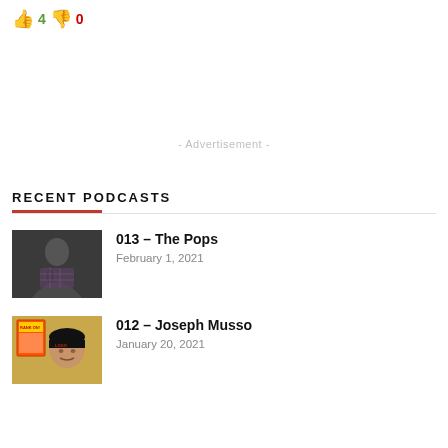👍 4 👎 0
- Advertisement -
RECENT PODCASTS
[Figure (photo): Thumbnail image of a man in a plaid shirt with microphone, for podcast episode 013 - The Pops]
013 – The Pops
February 1, 2021
[Figure (photo): Thumbnail image of a man in a black beanie hat with a comic book cover visible, for podcast episode 012 - Joseph Musso]
012 – Joseph Musso
January 20, 2021